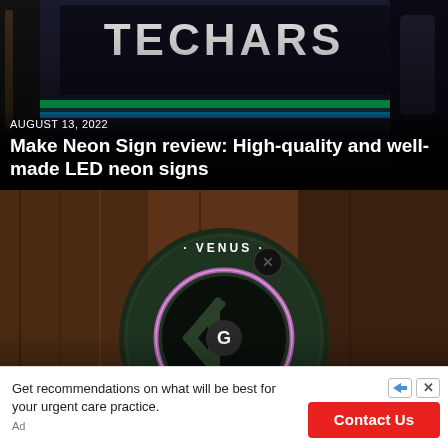[Figure (photo): Photo of a neon sign reading TECHARS with guitars in the background, glowing green and blue LED strips]
AUGUST 13, 2022
Make Neon Sign review: High-quality and well-made LED neon signs
[Figure (photo): Photo of a GravaStar Venus Bluetooth speaker, spherical robot-like design in dark green with a purple LED ring around the speaker grill]
AUGUST 12, 2022
GravaStar Venus review: A cute, but loud,
Get recommendations on what will be best for your urgent care practice.
Ad
Contact Us